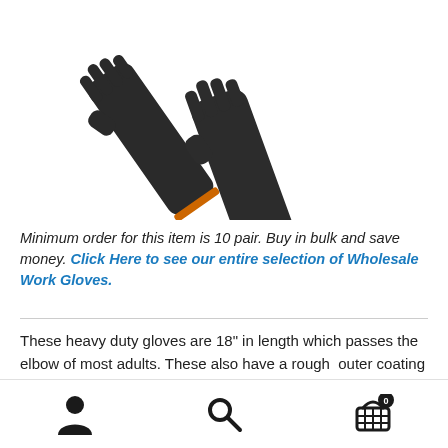[Figure (photo): Two long black rubber/latex heavy duty work gloves laid overlapping on a white background, showing fingers and extended arm-length cuffs.]
Minimum order for this item is 10 pair. Buy in bulk and save money. Click Here to see our entire selection of Wholesale Work Gloves.
These heavy duty gloves are 18" in length which passes the elbow of most adults. These also have a rough  outer coating for good gripping power. Although they're slightly
[Figure (other): Bottom navigation bar with user account icon, search icon, and shopping cart icon with 0 badge.]